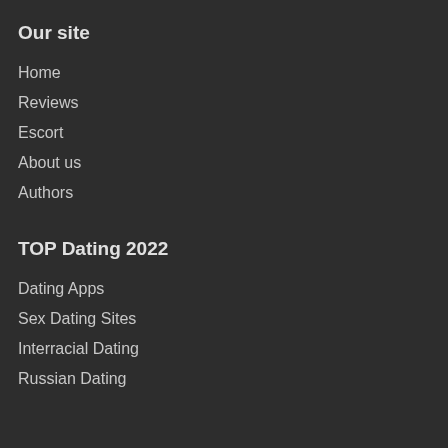Our site
Home
Reviews
Escort
About us
Authors
TOP Dating 2022
Dating Apps
Sex Dating Sites
Interracial Dating
Russian Dating